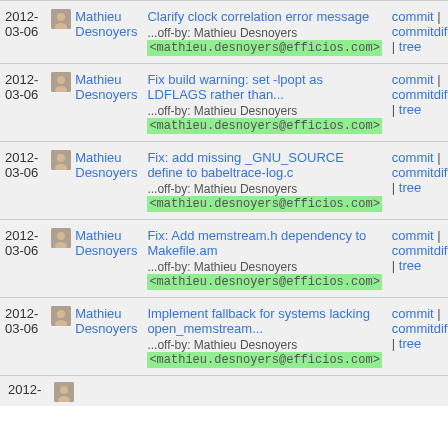| Date | Author | Message | Links |
| --- | --- | --- | --- |
| 2012-03-06 | Mathieu Desnoyers | Clarify clock correlation error message ...off-by: Mathieu Desnoyers <mathieu.desnoyers@efficios.com> | commit | commitdiff | tree |
| 2012-03-06 | Mathieu Desnoyers | Fix build warning: set -lpopt as LDFLAGS rather than... ...off-by: Mathieu Desnoyers <mathieu.desnoyers@efficios.com> | commit | commitdiff | tree |
| 2012-03-06 | Mathieu Desnoyers | Fix: add missing _GNU_SOURCE define to babeltrace-log.c ...off-by: Mathieu Desnoyers <mathieu.desnoyers@efficios.com> | commit | commitdiff | tree |
| 2012-03-06 | Mathieu Desnoyers | Fix: Add memstream.h dependency to Makefile.am ...off-by: Mathieu Desnoyers <mathieu.desnoyers@efficios.com> | commit | commitdiff | tree |
| 2012-03-06 | Mathieu Desnoyers | Implement fallback for systems lacking open_memstream... ...off-by: Mathieu Desnoyers <mathieu.desnoyers@efficios.com> | commit | commitdiff | tree |